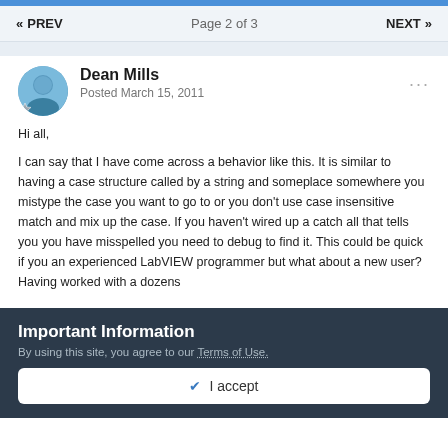« PREV   Page 2 of 3   NEXT »
Dean Mills
Posted March 15, 2011
Hi all,

I can say that I have come across a behavior like this. It is similar to having a case structure called by a string and someplace somewhere you mistype the case you want to go to or you don't use case insensitive match and mix up the case. If you haven't wired up a catch all that tells you you have misspelled you need to debug to find it. This could be quick if you an experienced LabVIEW programmer but what about a new user? Having worked with a dozens
Important Information
By using this site, you agree to our Terms of Use.
✔ I accept